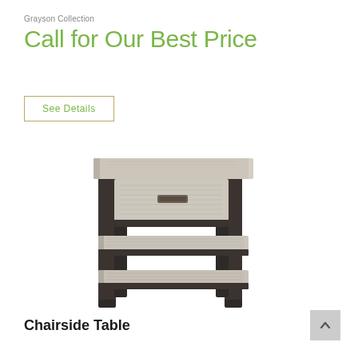Grayson Collection
Call for Our Best Price
See Details
[Figure (photo): A chairside table from the Grayson Collection featuring dark metal frame with light wood grain top surface and two lower shelves, plus one drawer with a metal pull handle.]
Chairside Table